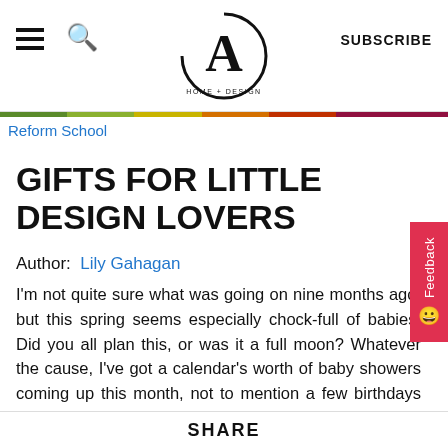CA HOME + DESIGN — SUBSCRIBE
Reform School
GIFTS FOR LITTLE DESIGN LOVERS
Author: Lily Gahagan
I'm not quite sure what was going on nine months ago, but this spring seems especially chock-full of babies. Did you all plan this, or was it a full moon? Whatever the cause, I've got a calendar's worth of baby showers coming up this month, not to mention a few birthdays for the 10-and-under set. And while I could get them that plastic contraption they've been
SHARE